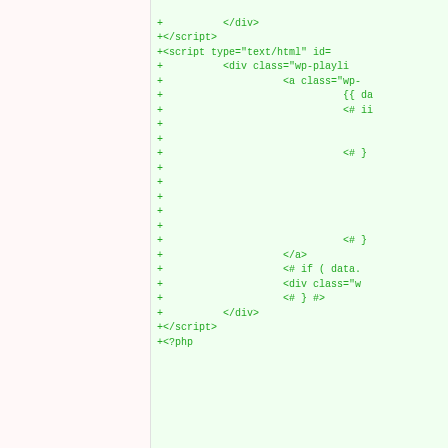[Figure (screenshot): Code diff view showing two columns. Left side (red background) shows removed lines, right side (green background) shows added lines. Top portion shows added green code lines with HTML/PHP content. Middle shows closing braces. Bottom shows a diff of function declarations: 'Display next image link' vs 'Output and enqueue default', with @since, @param, @return annotations and function signatures.]